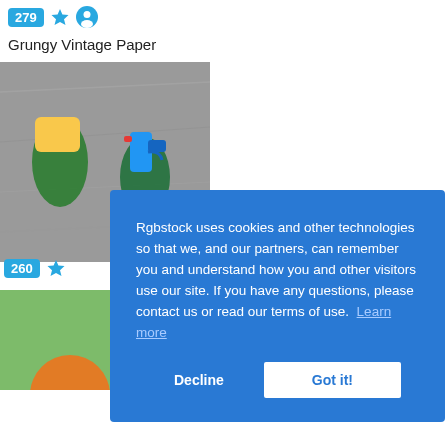279 ★ 🙂 Grungy Vintage Paper
[Figure (photo): Hands in green rubber gloves cleaning a metal surface with a yellow sponge and blue spray bottle]
260 ★
[Figure (photo): Green background area with orange circle peeking at bottom]
Rgbstock uses cookies and other technologies so that we, and our partners, can remember you and understand how you and other visitors use our site. If you have any questions, please contact us or read our terms of use. Learn more
Decline
Got it!